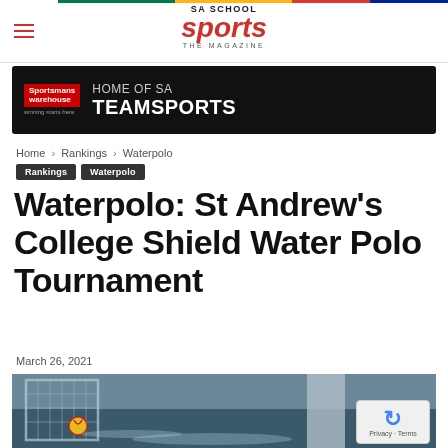SA School Sports The Magazine
[Figure (photo): Sportsmans Warehouse – Home of SA Teamsports advertisement banner]
Home › Rankings › Waterpolo
Rankings   Waterpolo
Waterpolo: St Andrew's College Shield Water Polo Tournament
March 26, 2021
[Figure (photo): Water polo action photo showing a goal net with a player and ball]